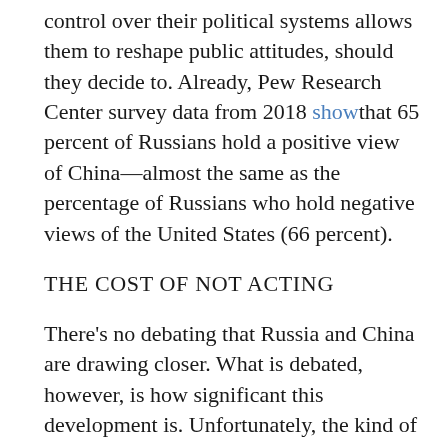control over their political systems allows them to reshape public attitudes, should they decide to. Already, Pew Research Center survey data from 2018 show that 65 percent of Russians hold a positive view of China—almost the same as the percentage of Russians who hold negative views of the United States (66 percent).
THE COST OF NOT ACTING
There's no debating that Russia and China are drawing closer. What is debated, however, is how significant this development is. Unfortunately, the kind of compelling evidence, such as unvarnished views into intentions of the leadership circles of these regimes, that would